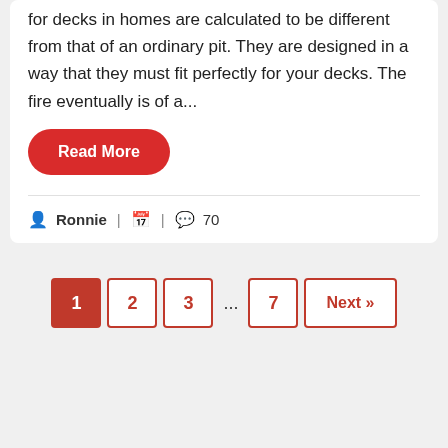for decks in homes are calculated to be different from that of an ordinary pit. They are designed in a way that they must fit perfectly for your decks. The fire eventually is of a...
Read More
Ronnie | | 70
1 2 3 ... 7 Next »